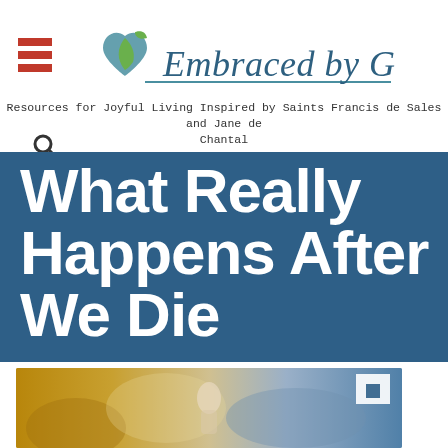[Figure (logo): Embraced by God logo with stylized heart and leaf graphic and italic script text]
Resources for Joyful Living Inspired by Saints Francis de Sales and Jane de Chantal
What Really Happens After We Die
[Figure (photo): Religious painting showing a figure ascending with angels in golden and blue tones]